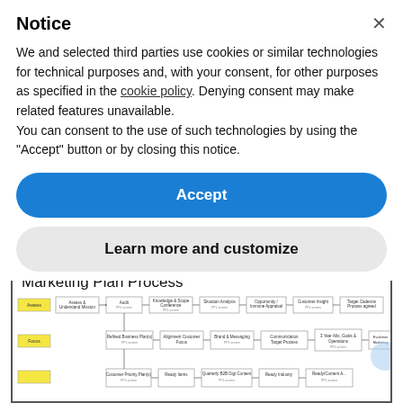Notice
We and selected third parties use cookies or similar technologies for technical purposes and, with your consent, for other purposes as specified in the cookie policy. Denying consent may make related features unavailable.
You can consent to the use of such technologies by using the "Accept" button or by closing this notice.
Accept
Learn more and customize
[Figure (flowchart): Marketing Plan Process flowchart showing multiple rows of process steps including Assess, Focus, and other phases with connected boxes for activities like Audit, Knowledge & Scope Conference, Situation Analysis, Opportunity/Immune Appraisal, Customer Insight, Target Cadence, Refined Business Plans, Alignment Customer Focus, Brand & Messaging, Communication Target Process, 3 Year Alts Goals & Operations, Evolution Marketing Tech-present]